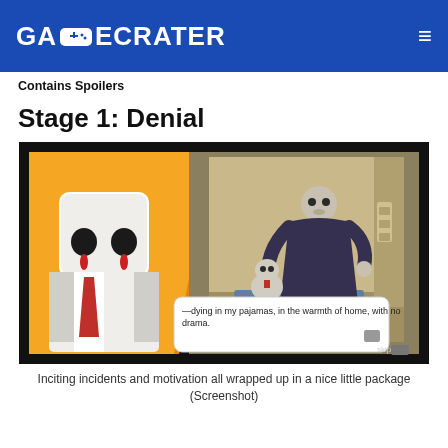GAMECRATER
Contains Spoilers
Stage 1: Denial
[Figure (screenshot): Game screenshot showing cartoon characters: a large white marshmallow-like character with black eyes crying red tears in a suit, a smaller similar character sitting, and a dark skeletal figure in background. Dialog box reads: '—dying in my pajamas, in the warmth of home, with no drama.' with a skip button.]
Inciting incidents and motivation all wrapped up in a nice little package
(Screenshot)